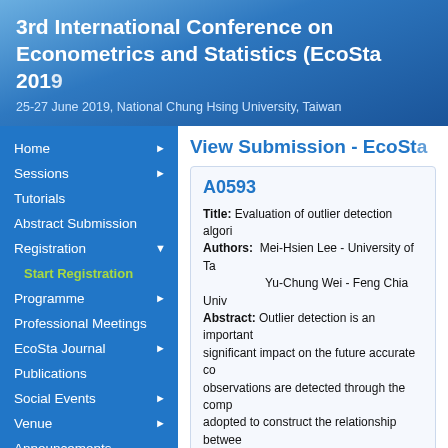3rd International Conference on Econometrics and Statistics (EcoSta 2019)
25-27 June 2019, National Chung Hsing University, Taiwan
Home
Sessions
Tutorials
Abstract Submission
Registration
Start Registration
Programme
Professional Meetings
EcoSta Journal
Publications
Social Events
Venue
Announcements
About us
View Submission - EcoSta
A0593
Title: Evaluation of outlier detection algorithms
Authors: Mei-Hsien Lee - University of Ta...
         Yu-Chung Wei - Feng Chia Univ...
Abstract: Outlier detection is an important... significant impact on the future accurate co... observations are detected through the comp... adopted to construct the relationship betwe... regarded as outliers are identified. Outlier d... temperature data from severs instrument sta... to detect the erroneous observations. DFFIT... from extreme climatic rather than false obse... and extreme posterior probabilities of rando...